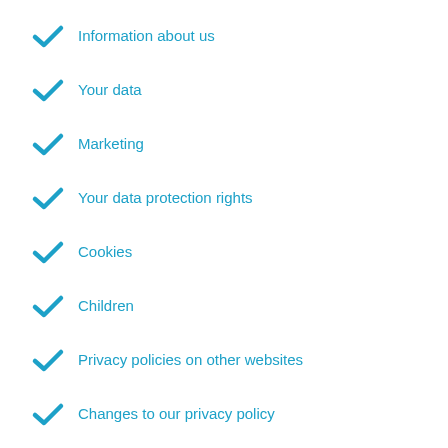Information about us
Your data
Marketing
Your data protection rights
Cookies
Children
Privacy policies on other websites
Changes to our privacy policy
How to contact us
Contacting appropriate authorities
Notices and disclaimers
Information about us